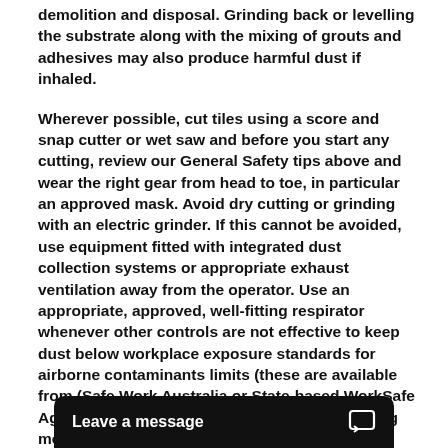demolition and disposal. Grinding back or levelling the substrate along with the mixing of grouts and adhesives may also produce harmful dust if inhaled.
Wherever possible, cut tiles using a score and snap cutter or wet saw and before you start any cutting, review our General Safety tips above and wear the right gear from head to toe, in particular an approved mask. Avoid dry cutting or grinding with an electric grinder. If this cannot be avoided, use equipment fitted with integrated dust collection systems or appropriate exhaust ventilation away from the operator. Use an appropriate, approved, well-fitting respirator whenever other controls are not effective to keep dust below workplace exposure standards for airborne contaminants limits (these are available from (Safe Work Australia or State-based WorkSafe Agencies). Score and snap cutting or wet cutting methods are always recommended as well as cutting in an external or well-ventilated area. For regular tradespeople working with tile and stone, effective dust controls, such as score and snap, on-tool water suppression (which includes wet saws) or on-tool dus... these tasks such as grin...